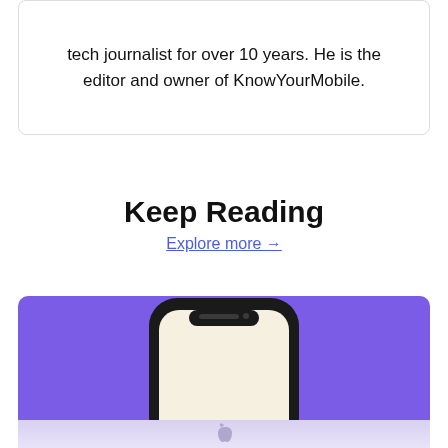tech journalist for over 10 years. He is the editor and owner of KnowYourMobile.
Keep Reading
Explore more →
[Figure (illustration): iPhone illustration on purple background with Apple logo reflection below]